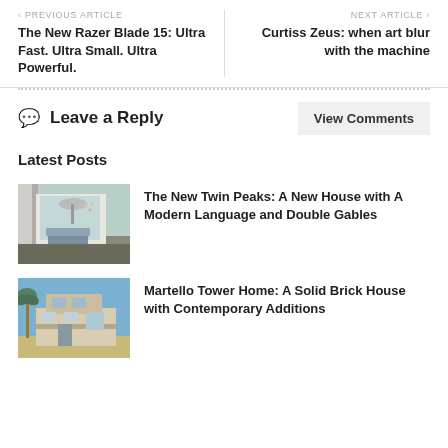< PREVIOUS ARTICLE
The New Razer Blade 15: Ultra Fast. Ultra Small. Ultra Powerful.
NEXT ARTICLE >
Curtiss Zeus: when art blur with the machine
Leave a Reply
View Comments
Latest Posts
[Figure (photo): Interior of a modern house with curtains and open living area]
The New Twin Peaks: A New House with A Modern Language and Double Gables
[Figure (photo): Exterior of a brick house with palm trees and contemporary additions]
Martello Tower Home: A Solid Brick House with Contemporary Additions